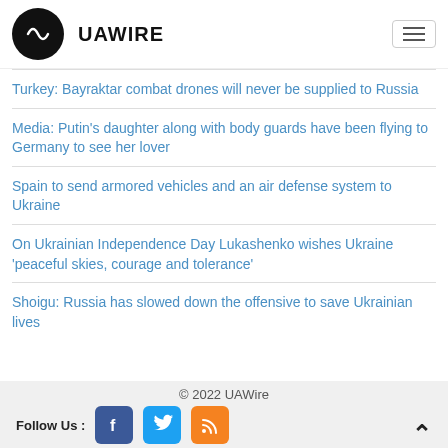UAWIRE
Turkey: Bayraktar combat drones will never be supplied to Russia
Media: Putin's daughter along with body guards have been flying to Germany to see her lover
Spain to send armored vehicles and an air defense system to Ukraine
On Ukrainian Independence Day Lukashenko wishes Ukraine 'peaceful skies, courage and tolerance'
Shoigu: Russia has slowed down the offensive to save Ukrainian lives
© 2022 UAWire
Follow Us :